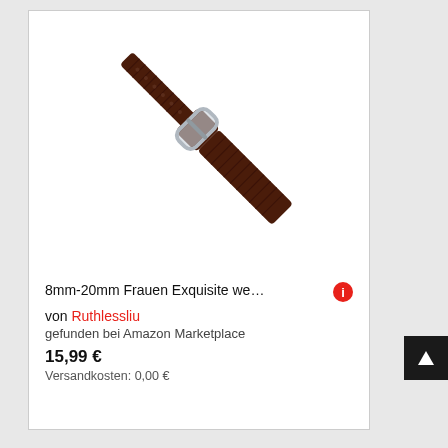[Figure (photo): Brown leather watch strap with silver buckle, shown diagonally on white background]
8mm-20mm Frauen Exquisite we… von Ruthlessliu gefunden bei Amazon Marketplace 15,99 € Versandkosten: 0,00 €